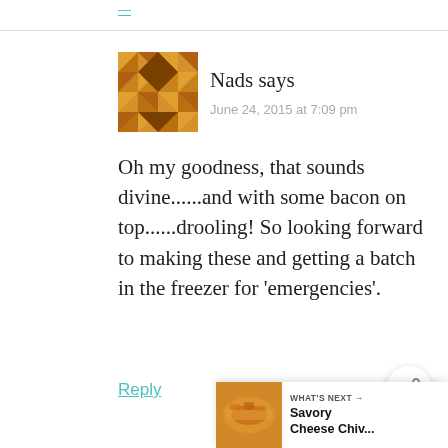Nads says
June 24, 2015 at 7:09 pm
Oh my goodness, that sounds divine......and with some bacon on top......drooling! So looking forward to making these and getting a batch in the freezer for 'emergencies'.
Reply
[Figure (other): Share button icon (circle with share symbol)]
[Figure (photo): What's Next promo card showing a savory cheese chive dish image with label 'WHAT'S NEXT → Savory Cheese Chiv...']